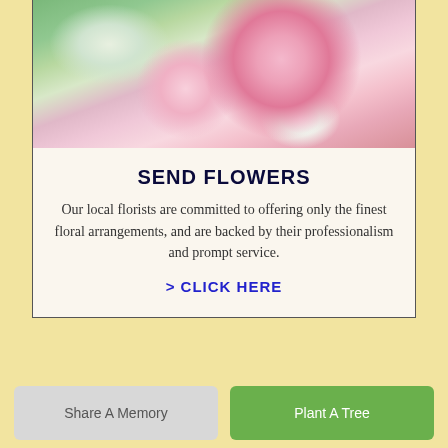[Figure (photo): Close-up photo of a floral arrangement with pink roses, white flowers, and green foliage]
SEND FLOWERS
Our local florists are committed to offering only the finest floral arrangements, and are backed by their professionalism and prompt service.
> CLICK HERE
Share A Memory
Plant A Tree